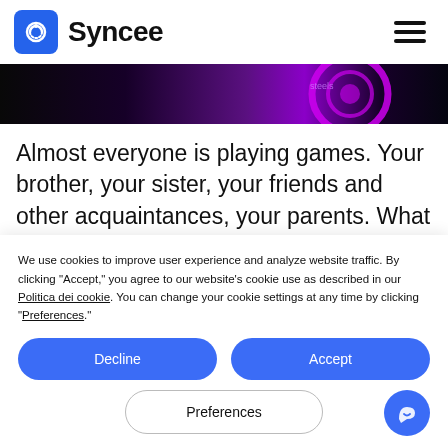Syncee
[Figure (photo): Dark gaming-themed hero banner with purple neon circular design elements]
Almost everyone is playing games. Your brother, your sister, your friends and other acquaintances, your parents. What gamer related supplies can you sell?
We use cookies to improve user experience and analyze website traffic. By clicking “Accept,” you agree to our website’s cookie use as described in our Politica dei cookie. You can change your cookie settings at any time by clicking “Preferences.”
Decline
Accept
Preferences